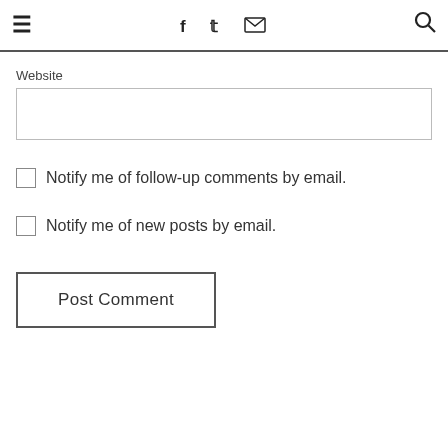☰  f  𝕥  ✉  🔍
Website
☐ Notify me of follow-up comments by email.
☐ Notify me of new posts by email.
Post Comment